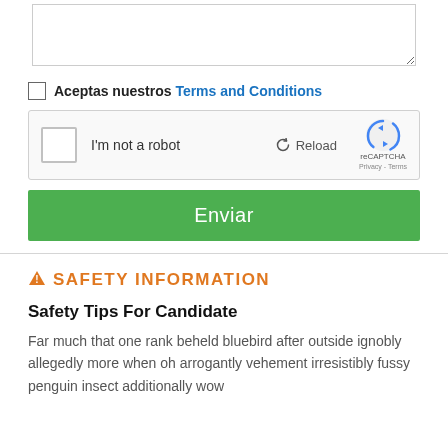[Figure (screenshot): Textarea input box, partially visible at top of page]
Aceptas nuestros Terms and Conditions
[Figure (screenshot): reCAPTCHA widget with checkbox 'I'm not a robot', Reload button, reCAPTCHA logo, Privacy - Terms links]
Enviar
SAFETY INFORMATION
Safety Tips For Candidate
Far much that one rank beheld bluebird after outside ignobly allegedly more when oh arrogantly vehement irresistibly fussy penguin insect additionally wow